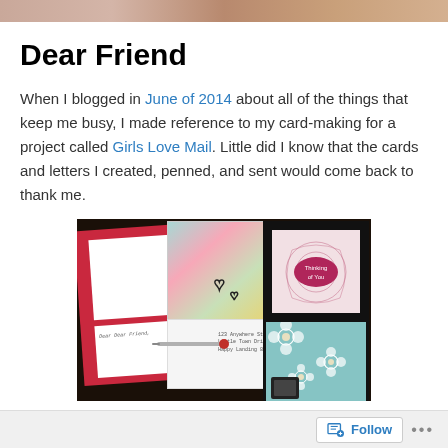[Figure (photo): Top decorative image strip showing fabric or texture in warm tones]
Dear Friend
When I blogged in June of 2014 about all of the things that keep me busy, I made reference to my card-making for a project called Girls Love Mail. Little did I know that the cards and letters I created, penned, and sent would come back to thank me.
[Figure (photo): Photo of handmade greeting cards and letters arranged on a dark surface, including a red card, colorful patterned cards, a white envelope with a pen, and a blue floral card]
Follow ...